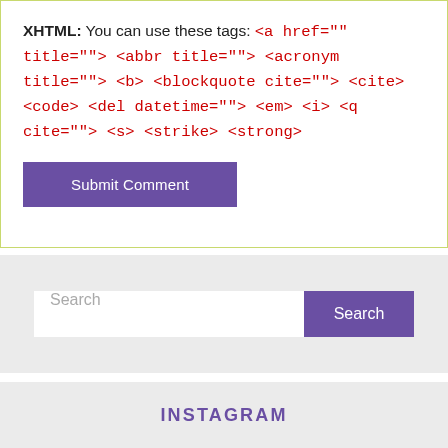XHTML: You can use these tags: <a href="" title=""> <abbr title=""> <acronym title=""> <b> <blockquote cite=""> <cite> <code> <del datetime=""> <em> <i> <q cite=""> <s> <strike> <strong>
Submit Comment
Search
Search
INSTAGRAM